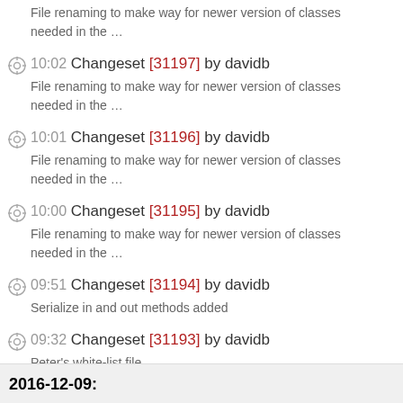File renaming to make way for newer version of classes needed in the …
10:02 Changeset [31197] by davidb
File renaming to make way for newer version of classes needed in the …
10:01 Changeset [31196] by davidb
File renaming to make way for newer version of classes needed in the …
10:00 Changeset [31195] by davidb
File renaming to make way for newer version of classes needed in the …
09:51 Changeset [31194] by davidb
Serialize in and out methods added
09:32 Changeset [31193] by davidb
Peter's white-list file
2016-12-09: